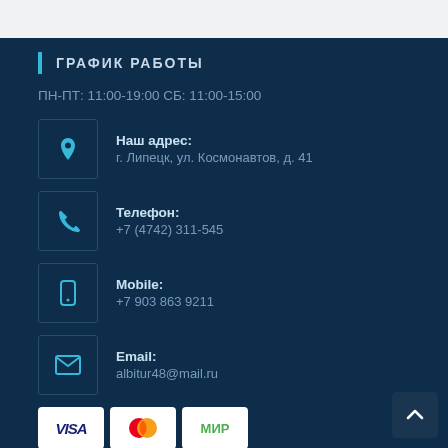ГРАФИК РАБОТЫ
ПН-ПТ: 11:00-19:00 СБ: 11:00-15:00
Наш адрес:
г. Липецк, ул. Космонавтов, д. 41
Телефон:
+7 (4742) 311-545
Mobile:
+7 903 863 9211
Email:
albitur48@mail.ru
[Figure (logo): Payment logos: VISA, Mastercard, MIR]
[Figure (logo): mail.ru logo and QR code badge]